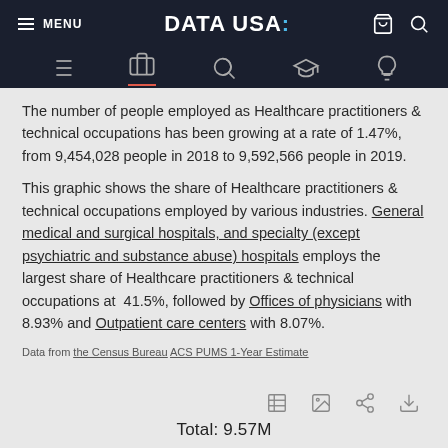MENU | DATA USA: | [cart] [search]
The number of people employed as Healthcare practitioners & technical occupations has been growing at a rate of 1.47%, from 9,454,028 people in 2018 to 9,592,566 people in 2019.
This graphic shows the share of Healthcare practitioners & technical occupations employed by various industries. General medical and surgical hospitals, and specialty (except psychiatric and substance abuse) hospitals employs the largest share of Healthcare practitioners & technical occupations at 41.5%, followed by Offices of physicians with 8.93% and Outpatient care centers with 8.07%.
Data from the Census Bureau ACS PUMS 1-Year Estimate
Total: 9.57M